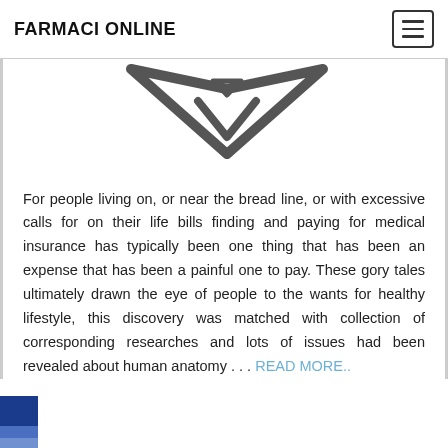FARMACI ONLINE
[Figure (logo): Partial diamond/chevron shaped logo icon in dark gray, cropped at top]
For people living on, or near the bread line, or with excessive calls for on their life bills finding and paying for medical insurance has typically been one thing that has been an expense that has been a painful one to pay. These gory tales ultimately drawn the eye of people to the wants for healthy lifestyle, this discovery was matched with collection of corresponding researches and lots of issues had been revealed about human anatomy . . . READ MORE..